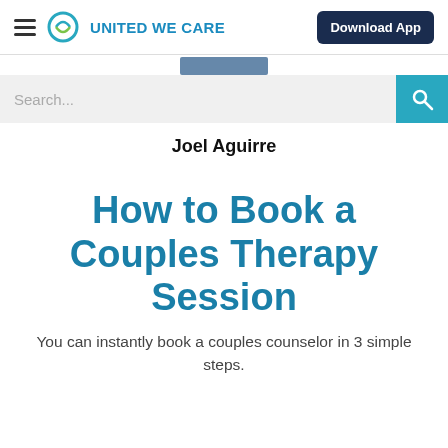UNITED WE CARE | Download App
Joel Aguirre
How to Book a Couples Therapy Session
You can instantly book a couples counselor in 3 simple steps.